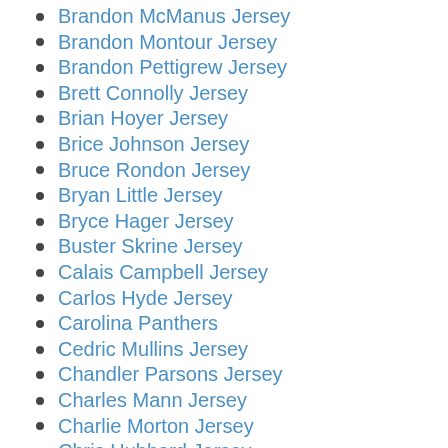Brandon McManus Jersey
Brandon Montour Jersey
Brandon Pettigrew Jersey
Brett Connolly Jersey
Brian Hoyer Jersey
Brice Johnson Jersey
Bruce Rondon Jersey
Bryan Little Jersey
Bryce Hager Jersey
Buster Skrine Jersey
Calais Campbell Jersey
Carlos Hyde Jersey
Carolina Panthers
Cedric Mullins Jersey
Chandler Parsons Jersey
Charles Mann Jersey
Charlie Morton Jersey
Chris Hubbard Jersey
Chris Jones Jersey
Chris Thompson Jersey